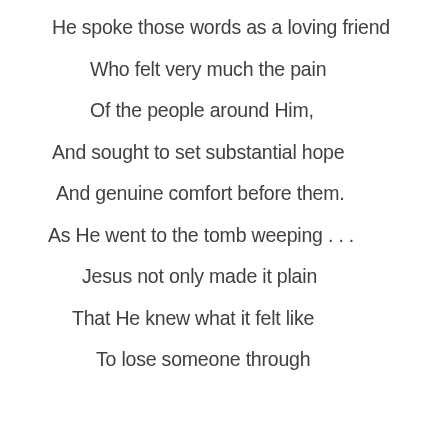He spoke those words as a loving friend
Who felt very much the pain
Of the people around Him,
And sought to set substantial hope
And genuine comfort before them.
As He went to the tomb weeping . . .
Jesus not only made it plain
That He knew what it felt like
To lose someone through